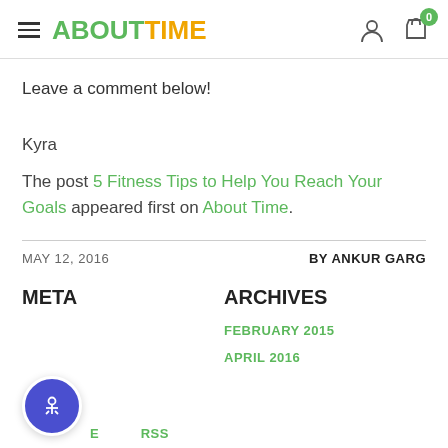ABOUTTIME
Leave a comment below!
Kyra
The post 5 Fitness Tips to Help You Reach Your Goals appeared first on About Time.
MAY 12, 2016    BY ANKUR GARG
META
ARCHIVES
FEBRUARY 2015
APRIL 2016